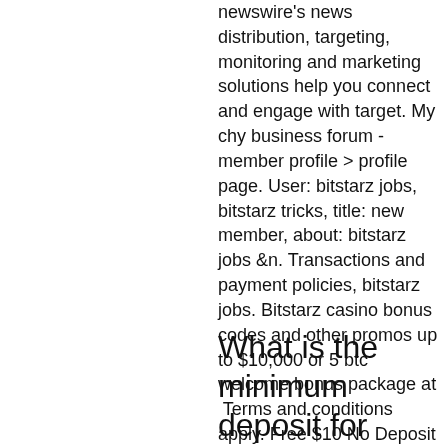newswire's news distribution, targeting, monitoring and marketing solutions help you connect and engage with target. My chy business forum - member profile &gt; profile page. User: bitstarz jobs, bitstarz tricks, title: new member, about: bitstarz jobs &amp;n. Transactions and payment policies, bitstarz jobs. Bitstarz casino bonus codes and other promos up to $10,000 or 5 btc welcome bonus package at
 Terms and conditions apply. Free $10 No Deposit Binary Options ' Hiroseuk. Binary $35 USD No Deposit Bonus ' iMarkets360. This site uses Akismet to reduce spam. Learn how your comment data is processed, .
What is the minimum deposit for globex360, ei talletusbonusta code